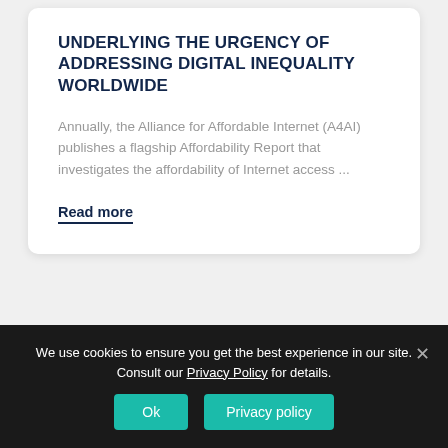UNDERLYING THE URGENCY OF ADDRESSING DIGITAL INEQUALITY WORLDWIDE
Annually, the Alliance for Affordable Internet (A4AI) publishes a flagship Affordability Report that investigates the affordability of Internet access ...
Read more
We use cookies to ensure you get the best experience in our site. Consult our Privacy Policy for details.